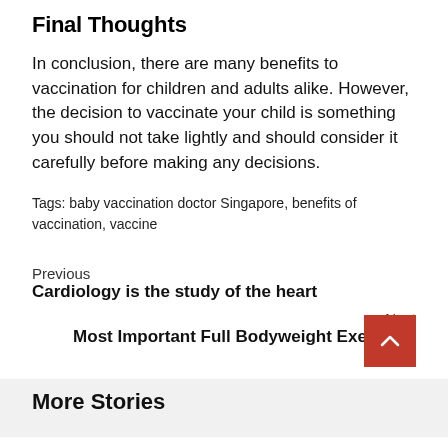Final Thoughts
In conclusion, there are many benefits to vaccination for children and adults alike. However, the decision to vaccinate your child is something you should not take lightly and should consider it carefully before making any decisions.
Tags: baby vaccination doctor Singapore, benefits of vaccination, vaccine
Previous
Cardiology is the study of the heart
Next
Most Important Full Bodyweight Exercises
More Stories